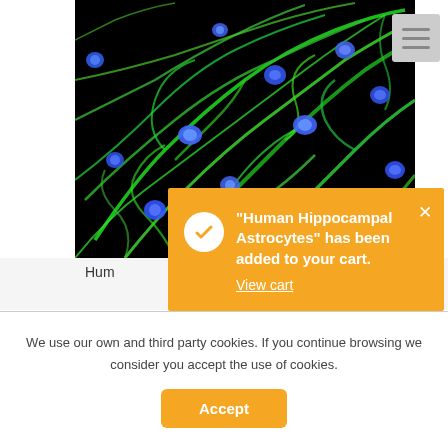[Figure (photo): Fluorescence microscopy image of human hippocampal astrocytes. Green fluorescent staining shows astrocyte cell bodies and processes against a black background, with blue fluorescent spots indicating cell nuclei (DAPI staining).]
Hum
[Figure (infographic): Orange notification banner with white checkmark circle icon. Text reads: “Human Hippocampal Astrocytes” has been added to your cart. View cart]
We use our own and third party cookies. If you continue browsing we consider you accept the use of cookies.
Accept